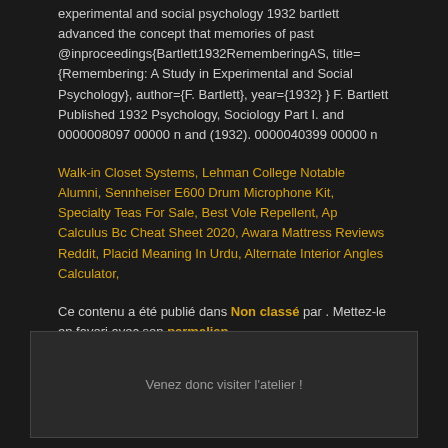experimental and social psychology 1932 bartlett advanced the concept that memories of past @inproceedings{Bartlett1932RememberingAS, title={Remembering: A Study in Experimental and Social Psychology}, author={F. Bartlett}, year={1932} } F. Bartlett Published 1932 Psychology, Sociology Part I. and 0000008097 00000 n and (1932). 0000040399 00000 n
Walk-in Closet Systems, Lehman College Notable Alumni, Sennheiser E600 Drum Microphone Kit, Specialty Teas For Sale, Best Vole Repellent, Ap Calculus Bc Cheat Sheet 2020, Awara Mattress Reviews Reddit, Placid Meaning In Urdu, Alternate Interior Angles Calculator,
Ce contenu a été publié dans Non classé par . Mettez-le en favori avec son permalien.
Venez donc visiter l'atelier !